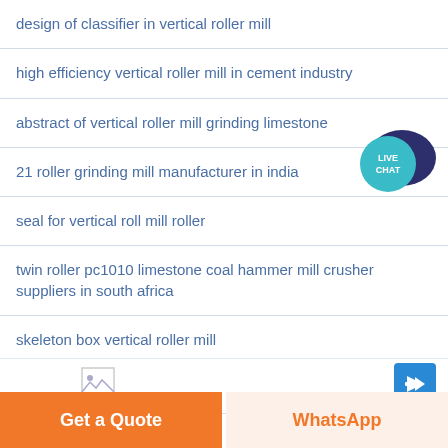design of classifier in vertical roller mill
high efficiency vertical roller mill in cement industry
abstract of vertical roller mill grinding limestone
21 roller grinding mill manufacturer in india
seal for vertical roll mill roller
twin roller pc1010 limestone coal hammer mill crusher suppliers in south africa
skeleton box vertical roller mill
dolomite crushing 4 roller mill manufacturers in india
[Figure (logo): Live Chat badge with speech bubble icon, teal/dark blue colors]
[Figure (illustration): Small image icon (broken/placeholder image) on left and blue arrow button on right in bottom area]
Get a Quote
WhatsApp